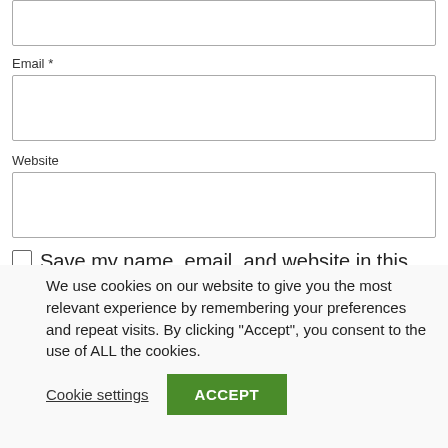Email *
Website
Save my name, email, and website in this browser for the next time I comment.
We use cookies on our website to give you the most relevant experience by remembering your preferences and repeat visits. By clicking “Accept”, you consent to the use of ALL the cookies.
Cookie settings
ACCEPT